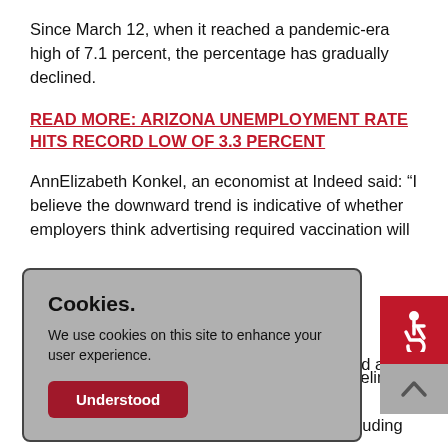Since March 12, when it reached a pandemic-era high of 7.1 percent, the percentage has gradually declined.
READ MORE: ARIZONA UNEMPLOYMENT RATE HITS RECORD LOW OF 3.3 PERCENT
AnnElizabeth Konkel, an economist at Indeed said: “I believe the downward trend is indicative of whether employers think advertising required vaccination will [affect recruitment].”
[Figure (screenshot): Cookie consent overlay with title 'Cookies.', body text 'We use cookies on this site to enhance your user experience.', and an 'Understood' button]
[Figure (infographic): Accessibility icon (wheelchair symbol) in red box and scroll-up arrow button]
18 and above
[Figure (infographic): Social media sharing icons: Twitter, Facebook, WhatsApp, LinkedIn, Email, Share]
As the delta variant was fueling a fresh wave of viral outbreaks, employers began including